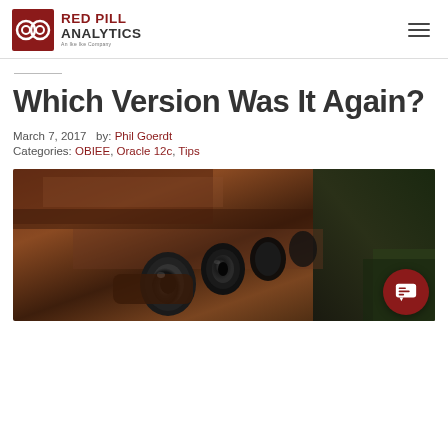[Figure (logo): Red Pill Analytics logo — red square icon with overlapping circles, text 'RED PILL ANALYTICS An Ike Ike Company']
Which Version Was It Again?
March 7, 2017  by: Phil Goerdt
Categories: OBIEE, Oracle 12c, Tips
[Figure (photo): Close-up photo of vintage binoculars and old leather-wrapped items on a green background]